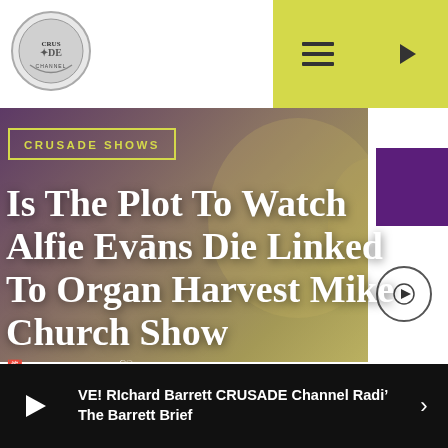[Figure (logo): Crusade channel circular logo with shield design]
[Figure (other): Navigation bar with hamburger menu and play button on yellow-green background]
[Figure (photo): Background hero image showing hands clasped, overlaid with purple-yellow gradient]
CRUSADE SHOWS
Is The Plot To Watch Alfie Evans Die Linked To Organ Harvest- Mike Church Show
04/26/2018
[Figure (other): Purple sidebar panel with play button icon]
VE! RIchard Barrett CRUSADE Channel Radio The Barrett Brief